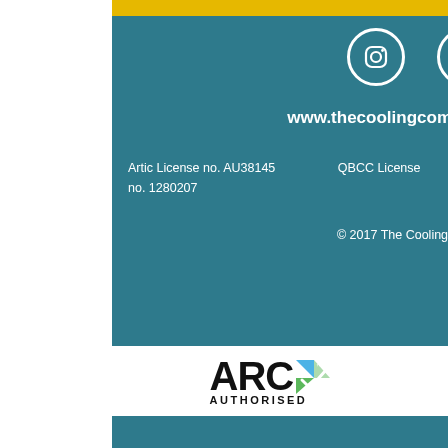[Figure (logo): Instagram and Facebook social media icons (white circles with icons) on teal background]
www.thecoolingcompany.com.au
Artic License no. AU38145   QBCC License no. 1280207
© 2017 The Cooling Company
[Figure (logo): ARC Authorised logo with blue and green checkmark]
[Figure (logo): Master Builders Queensland Proud Member logo with orange and navy building icon]